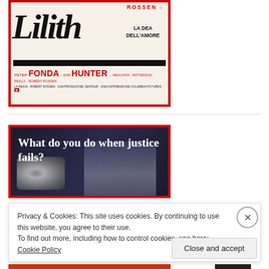[Figure (photo): Italian movie poster for 'Lilith' (La Dea Dell'Amore) featuring bold black brushstroke title text on cream background with red border. Credits include Peter Fonda, Kim Hunter, and director Robert Rossen. Columbia Pictures distribution.]
[Figure (photo): Movie poster with dark blue/black background showing text 'What do you do when justice fails?' with a close-up of a woman's eyes and a blurry gun in foreground. Red border.]
Privacy & Cookies: This site uses cookies. By continuing to use this website, you agree to their use.
To find out more, including how to control cookies, see here: Cookie Policy
Close and accept